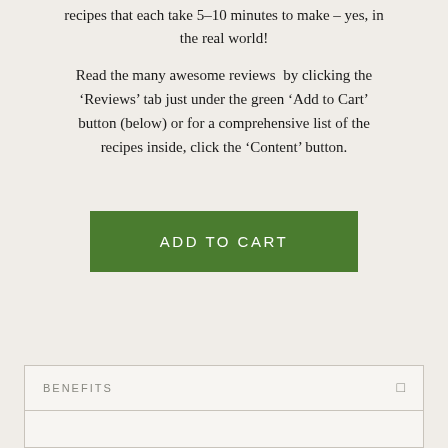recipes that each take 5–10 minutes to make – yes, in the real world!
Read the many awesome reviews  by clicking the 'Reviews' tab just under the green 'Add to Cart' button (below) or for a comprehensive list of the recipes inside, click the 'Content' button.
[Figure (other): Green 'ADD TO CART' button]
| BENEFITS |  |
| --- | --- |
|  |